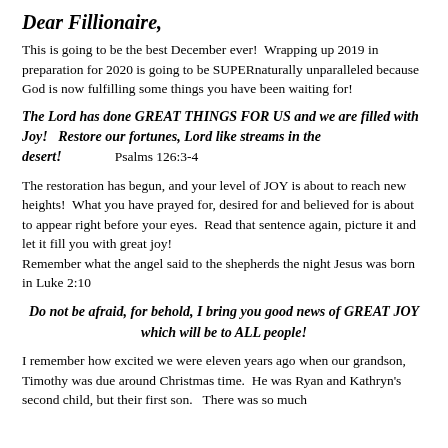Dear Fillionaire,
This is going to be the best December ever!  Wrapping up 2019 in preparation for 2020 is going to be SUPERnaturally unparalleled because God is now fulfilling some things you have been waiting for!
The Lord has done GREAT THINGS FOR US and we are filled with Joy!   Restore our fortunes, Lord like streams in the desert!    Psalms 126:3-4
The restoration has begun, and your level of JOY is about to reach new heights!  What you have prayed for, desired for and believed for is about to appear right before your eyes.  Read that sentence again, picture it and let it fill you with great joy!
Remember what the angel said to the shepherds the night Jesus was born in Luke 2:10
Do not be afraid, for behold, I bring you good news of GREAT JOY which will be to ALL people!
I remember how excited we were eleven years ago when our grandson, Timothy was due around Christmas time.  He was Ryan and Kathryn's second child, but their first son.   There was so much